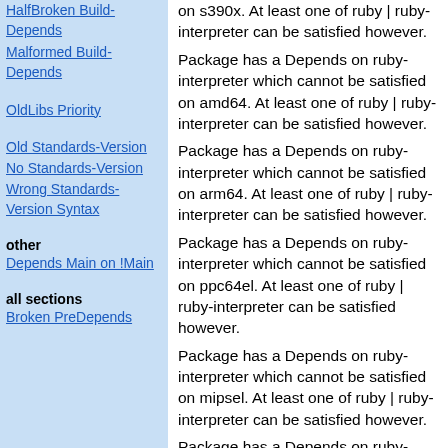HalfBroken Build-Depends
Malformed Build-Depends
OldLibs Priority
Old Standards-Version
No Standards-Version
Wrong Standards-Version Syntax
other
Depends Main on !Main
all sections
Broken PreDepends
on s390x. At least one of ruby | ruby-interpreter can be satisfied however.
Package has a Depends on ruby-interpreter which cannot be satisfied on amd64. At least one of ruby | ruby-interpreter can be satisfied however.
Package has a Depends on ruby-interpreter which cannot be satisfied on arm64. At least one of ruby | ruby-interpreter can be satisfied however.
Package has a Depends on ruby-interpreter which cannot be satisfied on ppc64el. At least one of ruby | ruby-interpreter can be satisfied however.
Package has a Depends on ruby-interpreter which cannot be satisfied on mipsel. At least one of ruby | ruby-interpreter can be satisfied however.
Package has a Depends on ruby-